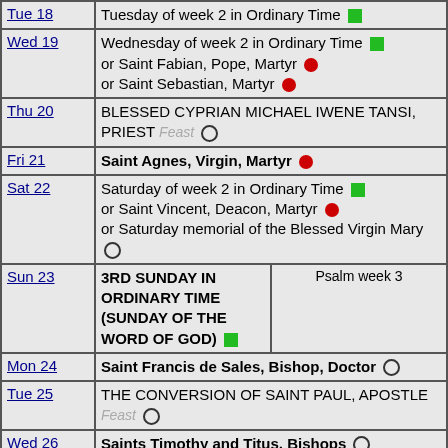| Day | Observance | Note |
| --- | --- | --- |
| Tue 18 | Tuesday of week 2 in Ordinary Time [green] |  |
| Wed 19 | Wednesday of week 2 in Ordinary Time [green] or Saint Fabian, Pope, Martyr [red] or Saint Sebastian, Martyr [red] |  |
| Thu 20 | BLESSED CYPRIAN MICHAEL IWENE TANSI, PRIEST Feast [circle] |  |
| Fri 21 | Saint Agnes, Virgin, Martyr [red] |  |
| Sat 22 | Saturday of week 2 in Ordinary Time [green] or Saint Vincent, Deacon, Martyr [red] or Saturday memorial of the Blessed Virgin Mary [circle] |  |
| Sun 23 | 3RD SUNDAY IN ORDINARY TIME (SUNDAY OF THE WORD OF GOD) [green] | Psalm week 3 |
| Mon 24 | Saint Francis de Sales, Bishop, Doctor [circle] |  |
| Tue 25 | THE CONVERSION OF SAINT PAUL, APOSTLE Feast [circle] |  |
| Wed 26 | Saints Timothy and Titus, Bishops [circle] |  |
| Thu 27 | Thursday of week 3 in Ordinary Time [green] or Saint Angela Merici, Virgin [circle] |  |
| Fri 28 | Saint Thomas Aquinas, Priest, Doctor [circle] |  |
| Sat 29 | Saturday of week 3 in Ordinary Time [green] |  |